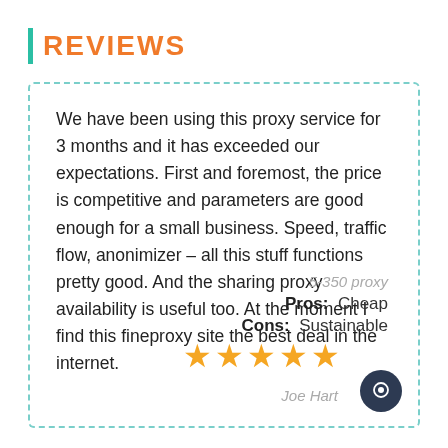REVIEWS
We have been using this proxy service for 3 months and it has exceeded our expectations. First and foremost, the price is competitive and parameters are good enough for a small business. Speed, traffic flow, anonimizer – all this stuff functions pretty good. And the sharing proxy availability is useful too. At the moment I find this fineproxy site the best deal in the internet.
5-350 proxy
Pros: Cheap
Cons: Sustainable
★★★★★
Joe Hart